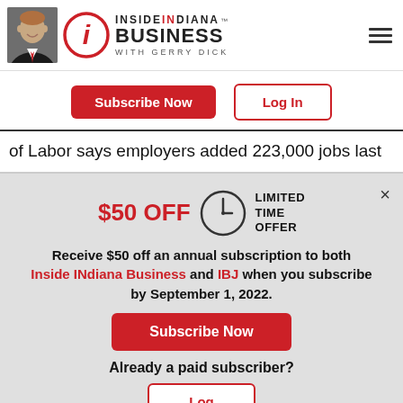[Figure (logo): Inside INdiana Business with Gerry Dick logo — person photo on left, circular 'i' logo mark, and brand text reading INSIDE INDIANA BUSINESS WITH GERRY DICK]
Subscribe Now
Log In
of Labor says employers added 223,000 jobs last
$50 OFF LIMITED TIME OFFER
Receive $50 off an annual subscription to both Inside INdiana Business and IBJ when you subscribe by September 1, 2022.
Subscribe Now
Already a paid subscriber?
Log In